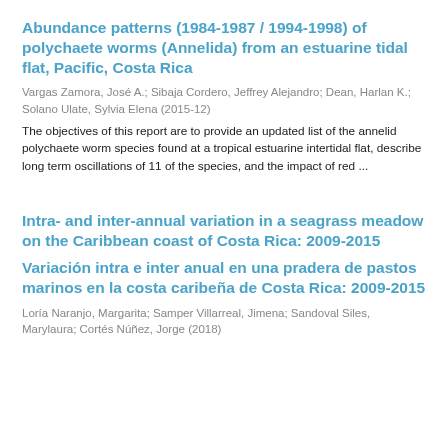Abundance patterns (1984-1987 / 1994-1998) of polychaete worms (Annelida) from an estuarine tidal flat, Pacific, Costa Rica
Vargas Zamora, José A.; Sibaja Cordero, Jeffrey Alejandro; Dean, Harlan K.; Solano Ulate, Sylvia Elena (2015-12)
The objectives of this report are to provide an updated list of the annelid polychaete worm species found at a tropical estuarine intertidal flat, describe long term oscillations of 11 of the species, and the impact of red ...
Intra- and inter-annual variation in a seagrass meadow on the Caribbean coast of Costa Rica: 2009-2015
Variación intra e inter anual en una pradera de pastos marinos en la costa caribeña de Costa Rica: 2009-2015
Loría Naranjo, Margarita; Samper Villarreal, Jimena; Sandoval Siles, Marylaura; Cortés Núñez, Jorge (2018)